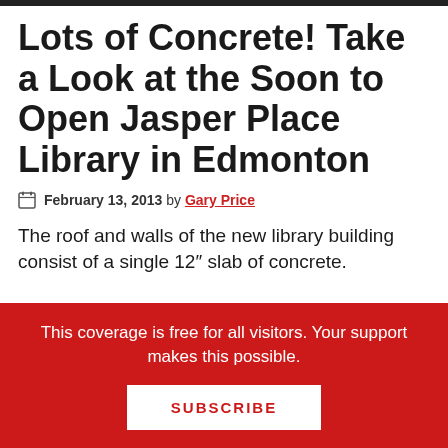Lots of Concrete! Take a Look at the Soon to Open Jasper Place Library in Edmonton
February 13, 2013 by Gary Price
The roof and walls of the new library building consist of a single 12" slab of concrete.
This coverage is free for all visitors. Your support makes this possible.
SUBSCRIBE